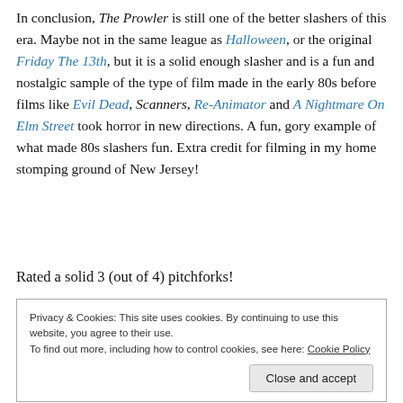In conclusion, The Prowler is still one of the better slashers of this era. Maybe not in the same league as Halloween, or the original Friday The 13th, but it is a solid enough slasher and is a fun and nostalgic sample of the type of film made in the early 80s before films like Evil Dead, Scanners, Re-Animator and A Nightmare On Elm Street took horror in new directions. A fun, gory example of what made 80s slashers fun. Extra credit for filming in my home stomping ground of New Jersey!
Rated a solid 3 (out of 4) pitchforks!
Privacy & Cookies: This site uses cookies. By continuing to use this website, you agree to their use. To find out more, including how to control cookies, see here: Cookie Policy